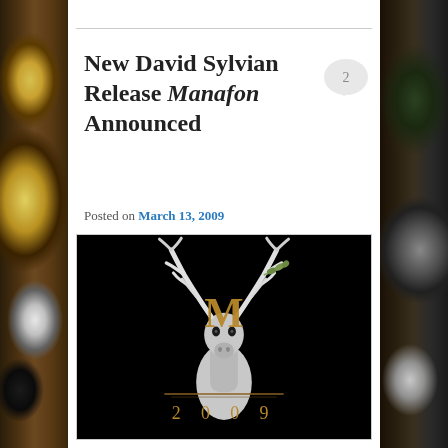New David Sylvian Release Manafon Announced
Posted on March 13, 2009
[Figure (illustration): Album artwork for David Sylvian's Manafon (2009) — a silver/white stag with antlers on a black background, with a large gold/brown 'M' monogram overlaid, and '2 0 0 9' text below a decorative horizontal rule]